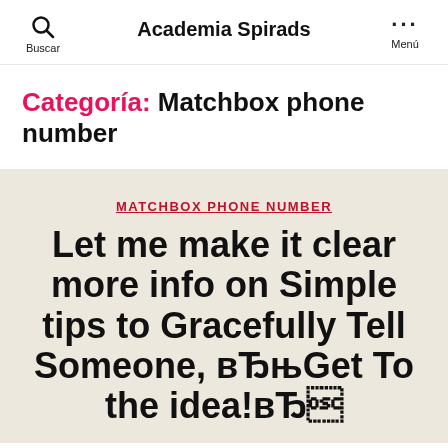Buscar | Academia Spirads | Menú
Categoría: Matchbox phone number
MATCHBOX PHONE NUMBER
Let me make it clear more info on Simple tips to Gracefully Tell Someone, вЂњGet To the idea!вЂ